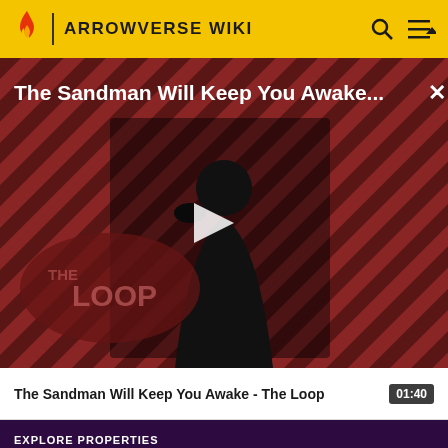ARROWVERSE WIKI
[Figure (screenshot): Video thumbnail for 'The Sandman Will Keep You Awake - The Loop' showing a dark-cloaked figure against a red diagonal striped background with 'THE LOOP' logo. A white play button triangle is centered on the image.]
The Sandman Will Keep You Awake - The Loop  01:40
EXPLORE PROPERTIES
Fandom
Futhead